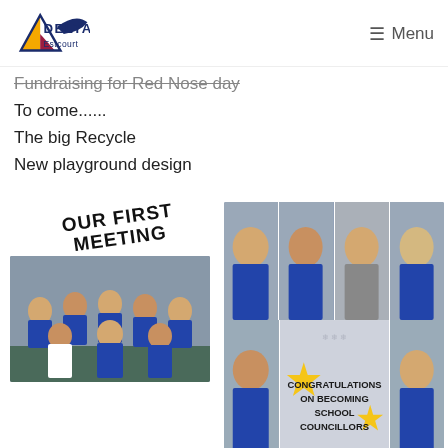Delta Estcourt — Menu
Fundraising for Red Nose day
To come......
The big Recycle
New playground design
[Figure (photo): Our First Meeting text stamp above a group photo of children in blue school uniforms giving thumbs up in a classroom]
[Figure (photo): Grid of school councillor headshots with a 'Congratulations on Becoming School Councillors' graphic with gold stars in the centre]